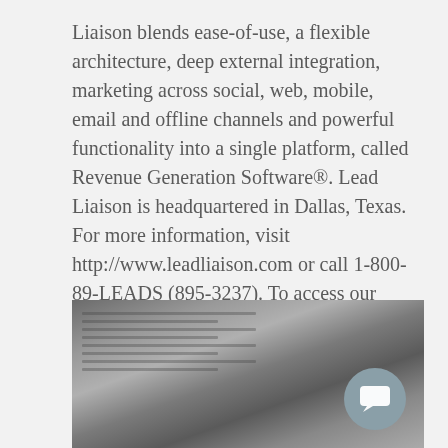Liaison blends ease-of-use, a flexible architecture, deep external integration, marketing across social, web, mobile, email and offline channels and powerful functionality into a single platform, called Revenue Generation Software®. Lead Liaison is headquartered in Dallas, Texas. For more information, visit http://www.leadliaison.com or call 1-800-89-LEADS (895-3237). To access our Press Kit, visit www.leadliaison.com/press-kit.
[Figure (photo): Black and white photograph of stacked newspapers, partially cropped at the bottom of the page, with a teal/grey chat bubble icon in the bottom-right corner.]